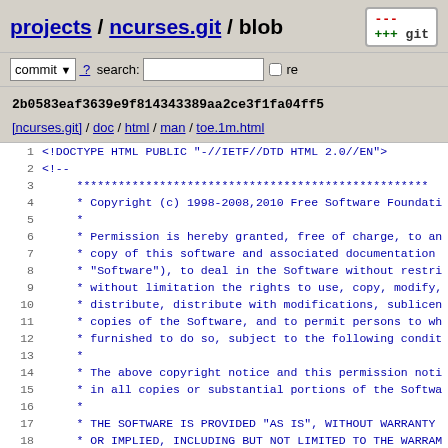projects / ncurses.git / blob
commit ? search: re
2b0583eaf3639e9f814343389aa2ce3f1fa04ff5
[ncurses.git] / doc / html / man / toe.1m.html
1  <!DOCTYPE HTML PUBLIC "-//IETF//DTD HTML 2.0//EN">
2  <!--
3       ****...
4       * Copyright (c) 1998-2008,2010 Free Software Foundati...
5       *
6       * Permission is hereby granted, free of charge, to an...
7       * copy of this software and associated documentation...
8       * "Software"), to deal in the Software without restri...
9       * without limitation the rights to use, copy, modify,...
10      * distribute, distribute with modifications, sublicer...
11      * copies of the Software, and to permit persons to wh...
12      * furnished to do so, subject to the following condit...
13      *
14      * The above copyright notice and this permission noti...
15      * in all copies or substantial portions of the Softwa...
16      *
17      * THE SOFTWARE IS PROVIDED "AS IS", WITHOUT WARRANTY...
18      * OR IMPLIED, INCLUDING BUT NOT LIMITED TO THE WARRAM...
19      * MERCHANTABILITY, FITNESS FOR A PARTICULAR PURPOSE A...
20      * IN NO EVENT SHALL THE ABOVE COPYRIGHT HOLDERS BE LI...
21      * DAMAGES OR OTHER LIABILITY, WHETHER IN AN ACTION OF...